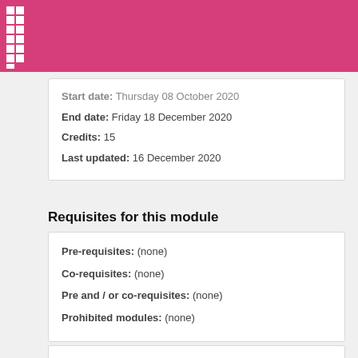Start date: Thursday 08 October 2020
End date: Friday 18 December 2020
Credits: 15
Last updated: 16 December 2020
Requisites for this module
Pre-requisites: (none)
Co-requisites: (none)
Pre and / or co-requisites: (none)
Prohibited modules: (none)